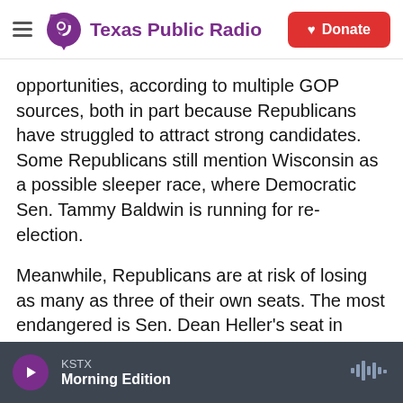Texas Public Radio — Donate
opportunities, according to multiple GOP sources, both in part because Republicans have struggled to attract strong candidates. Some Republicans still mention Wisconsin as a possible sleeper race, where Democratic Sen. Tammy Baldwin is running for re-election.
Meanwhile, Republicans are at risk of losing as many as three of their own seats. The most endangered is Sen. Dean Heller's seat in Nevada, a state won twice by Barack Obama and by Hillary Clinton in 2016. The contest to replace retiring Sen. Jeff Flake in Arizona worries many Republicans.
KSTX — Morning Edition